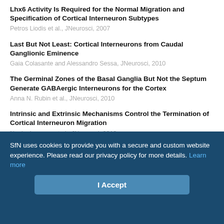Lhx6 Activity Is Required for the Normal Migration and Specification of Cortical Interneuron Subtypes
Last But Not Least: Cortical Interneurons from Caudal Ganglionic Eminence
The Germinal Zones of the Basal Ganglia But Not the Septum Generate GABAergic Interneurons for the Cortex
Intrinsic and Extrinsic Mechanisms Control the Termination of Cortical Interneuron Migration
Sorting of Striatal and Cortical Interneurons Regulated by Semaphorin-Neuropilin Interactions
SfN uses cookies to provide you with a secure and custom website experience. Please read our privacy policy for more details. Learn more